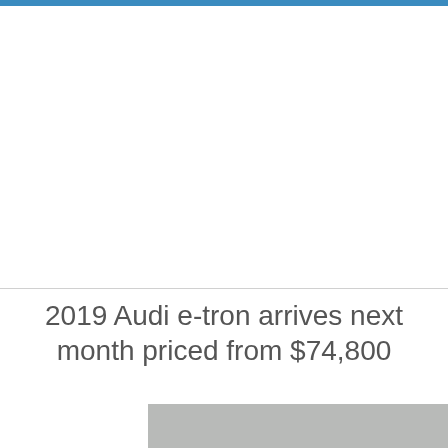[Figure (photo): Top blue navigation bar and white space representing a vehicle photo area]
2019 Audi e-tron arrives next month priced from $74,800
[Figure (photo): Partial gray/silver photo of a vehicle at the bottom of the page]